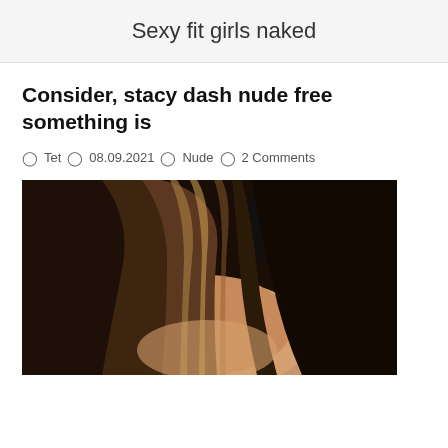Sexy fit girls naked
Consider, stacy dash nude free something is
Tet  08.09.2021  Nude  2 Comments
[Figure (photo): Close-up photo of a woman with brown highlighted hair]